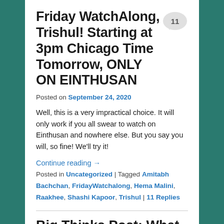Friday WatchAlong, Trishul! Starting at 3pm Chicago Time Tomorrow, ONLY ON EINTHUSAN
Posted on September 24, 2020
Well, this is a very impractical choice. It will only work if you all swear to watch on Einthusan and nowhere else. But you say you will, so fine! We'll try it!
Continue reading →
Posted in Uncategorized | Tagged Amitabh Bachchan, FridayWatchalong, Hema Malini, Raakhee, Shashi Kapoor, Trishul | 11 Replies
Big Thinks Post: What